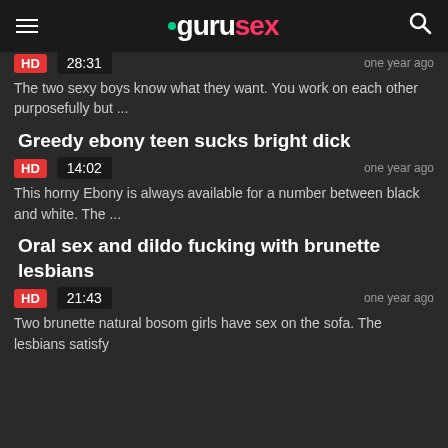gurusex
one year ago
HD  28:31
The two sexy boys know what they want. You work on each other purposefully but ...
Greedy ebony teen sucks bright dick
one year ago
HD  14:02
This horny Ebony is always available for a number between black and white. The ...
Oral sex and dildo fucking with brunette lesbians
one year ago
HD  21:43
Two brunette natural bosom girls have sex on the sofa. The lesbians satisfy